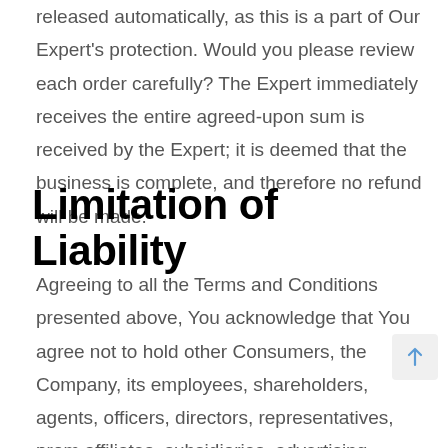released automatically, as this is a part of Our Expert's protection. Would you please review each order carefully? The Expert immediately receives the entire agreed-upon sum is received by the Expert; it is deemed that the business is complete, and therefore no refund will be made.
Limitation of Liability
Agreeing to all the Terms and Conditions presented above, You acknowledge that You agree not to hold other Consumers, the Company, its employees, shareholders, agents, officers, directors, representatives, prom affiliates, subsidiaries, advertising, fulfilment age or any other third-party providers or information/data